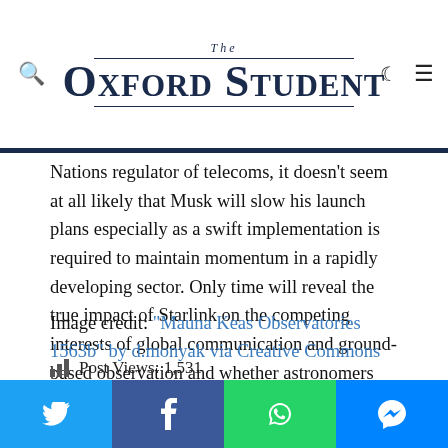The Oxford Student
Nations regulator of telecoms, it doesn’t seem at all likely that Musk will slow his launch plans especially as a swift implementation is required to maintain momentum in a rapidly developing sector. Only time will reveal the true impact of Starlink on the competing interests of global communication and ground-based observation and whether astronomers will soon be deprived a link to the stars.
Image credit: “Mauna Keas Observatories 1563b” by d.monyak via Creative Commons
Post Views: 1,531
Liked this article? Why not share it?